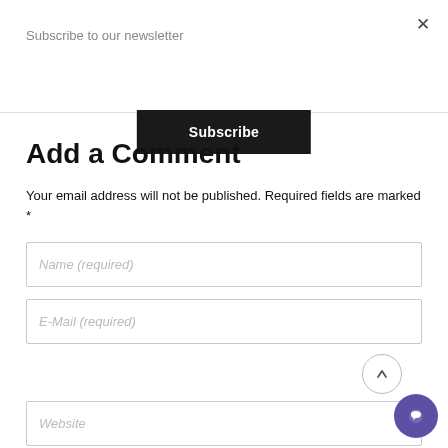Subscribe to our newsletter
Subscribe
Add a Comment
Your email address will not be published. Required fields are marked *
Name (required)
E-Mail (required)
Website